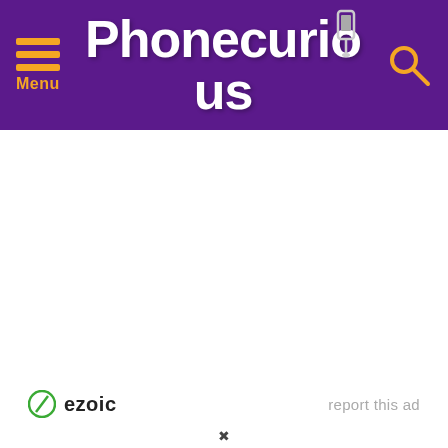[Figure (logo): Phonecurious website header with purple background, hamburger menu icon with orange lines and 'Menu' label on left, 'Phonecurious' logo text in white in center, and orange search icon on right]
[Figure (logo): Ezoic badge logo with green circle icon containing a slash, followed by 'ezoic' text in dark/black, positioned lower left of white content area]
report this ad